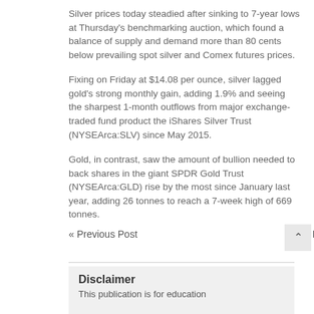Silver prices today steadied after sinking to 7-year lows at Thursday's benchmarking auction, which found a balance of supply and demand more than 80 cents below prevailing spot silver and Comex futures prices.
Fixing on Friday at $14.08 per ounce, silver lagged gold's strong monthly gain, adding 1.9% and seeing the sharpest 1-month outflows from major exchange-traded fund product the iShares Silver Trust (NYSEArca:SLV) since May 2015.
Gold, in contrast, saw the amount of bullion needed to back shares in the giant SPDR Gold Trust (NYSEArca:GLD) rise by the most since January last year, adding 26 tonnes to reach a 7-week high of 669 tonnes.
« Previous Post
Next Post »
Disclaimer
This publication is for education